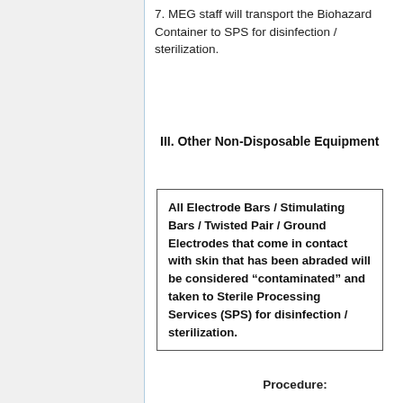7. MEG staff will transport the Biohazard Container to SPS for disinfection / sterilization.
III. Other Non-Disposable Equipment
All Electrode Bars / Stimulating Bars / Twisted Pair / Ground Electrodes that come in contact with skin that has been abraded will be considered “contaminated” and taken to Sterile Processing Services (SPS) for disinfection / sterilization.
Procedure: